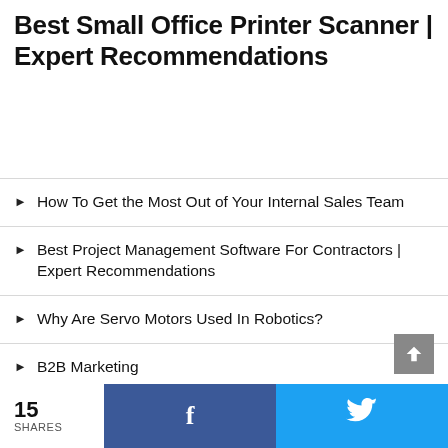Best Small Office Printer Scanner | Expert Recommendations
How To Get the Most Out of Your Internal Sales Team
Best Project Management Software For Contractors | Expert Recommendations
Why Are Servo Motors Used In Robotics?
B2B Marketing
Top CyberSecurity Job Career Advice In 2022
15 SHARES  [Facebook share]  [Twitter share]